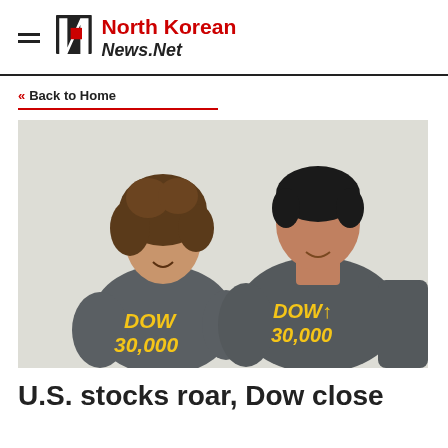North Korean News.Net
« Back to Home
[Figure (photo): Two smiling people wearing dark grey t-shirts that read 'DOW 30,000' in yellow text, posing against a white brick wall background.]
U.S. stocks roar, Dow close